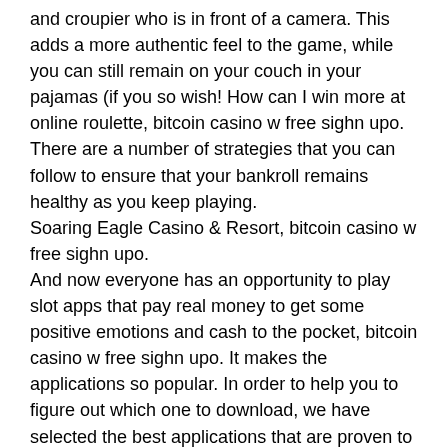and croupier who is in front of a camera. This adds a more authentic feel to the game, while you can still remain on your couch in your pajamas (if you so wish! How can I win more at online roulette, bitcoin casino w free sighn upo. There are a number of strategies that you can follow to ensure that your bankroll remains healthy as you keep playing.
Soaring Eagle Casino & Resort, bitcoin casino w free sighn upo.
And now everyone has an opportunity to play slot apps that pay real money to get some positive emotions and cash to the pocket, bitcoin casino w free sighn upo. It makes the applications so popular. In order to help you to figure out which one to download, we have selected the best applications that are proven to be called so. Find the best slot machine app for you today. The Best Slot Machine Apps.